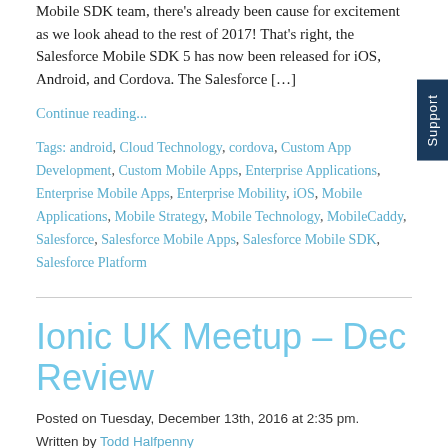Mobile SDK team, there's already been cause for excitement as we look ahead to the rest of 2017! That's right, the Salesforce Mobile SDK 5 has now been released for iOS, Android, and Cordova. The Salesforce […]
Continue reading...
Tags: android, Cloud Technology, cordova, Custom App Development, Custom Mobile Apps, Enterprise Applications, Enterprise Mobile Apps, Enterprise Mobility, iOS, Mobile Applications, Mobile Strategy, Mobile Technology, MobileCaddy, Salesforce, Salesforce Mobile Apps, Salesforce Mobile SDK, Salesforce Platform
Ionic UK Meetup – Dec Review
Posted on Tuesday, December 13th, 2016 at 2:35 pm.
Written by Todd Halfpenny